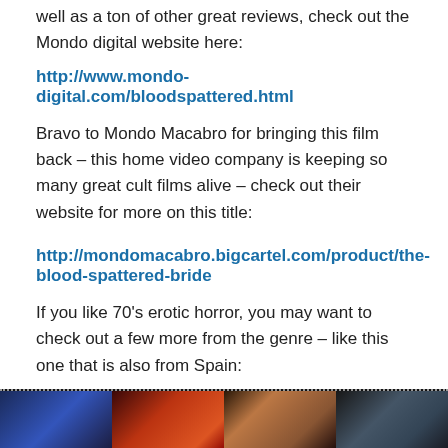well as a ton of other great reviews, check out the Mondo digital website here:
http://www.mondo-digital.com/bloodspattered.html
Bravo to Mondo Macabro for bringing this film back – this home video company is keeping so many great cult films alive – check out their website for more on this title:
http://mondomacabro.bigcartel.com/product/the-blood-spattered-bride
If you like 70's erotic horror, you may want to check out a few more from the genre – like this one that is also from Spain:
[Figure (photo): Film strip style image showing multiple dark movie stills with faces and dramatic lighting]